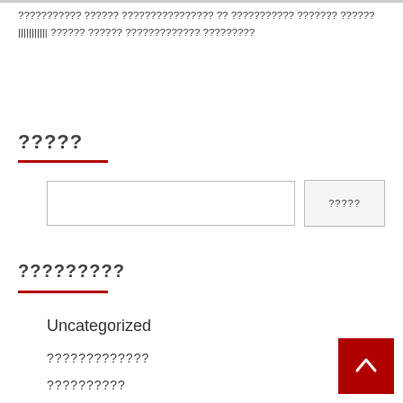??????????? ?????? ???????????????? ?? ??????????? ??????? ??????||||||||||| ?????? ?????? ????????????? ?????????
?????
Search input and button
?????????
Uncategorized
?????????????
??????????